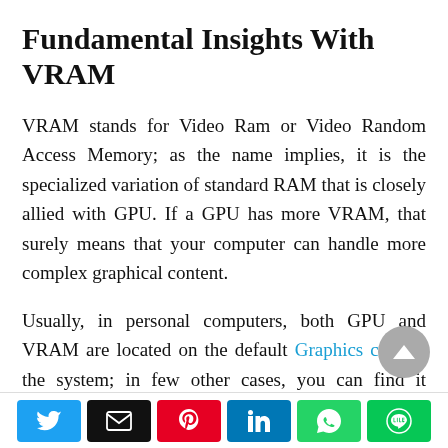Fundamental Insights With VRAM
VRAM stands for Video Ram or Video Random Access Memory; as the name implies, it is the specialized variation of standard RAM that is closely allied with GPU. If a GPU has more VRAM, that surely means that your computer can handle more complex graphical content.
Usually, in personal computers, both GPU and VRAM are located on the default Graphics card of the system; in few other cases, you can find it embedded on the motherboard of the computer
Social share buttons: Twitter, Email, Pinterest, LinkedIn, WhatsApp, Line